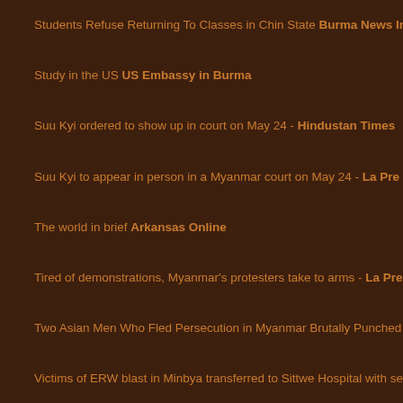Students Refuse Returning To Classes in Chin State Burma News In
Study in the US US Embassy in Burma
Suu Kyi ordered to show up in court on May 24 - Hindustan Times
Suu Kyi to appear in person in a Myanmar court on May 24 - La Pre
The world in brief Arkansas Online
Tired of demonstrations, Myanmar's protesters take to arms - La Pre
Two Asian Men Who Fled Persecution in Myanmar Brutally Punched
Victims of ERW blast in Minbya transferred to Sittwe Hospital with se
Wife of Rohingya refugee seeks help from Suhakam Free Malaysia
World Digest: May 10, 2021 Washington Post
10.05.2021